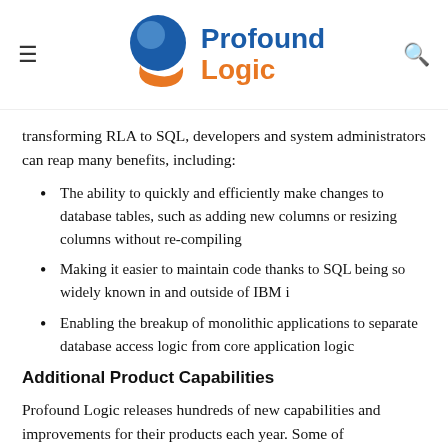Profound Logic
transforming RLA to SQL, developers and system administrators can reap many benefits, including:
The ability to quickly and efficiently make changes to database tables, such as adding new columns or resizing columns without re-compiling
Making it easier to maintain code thanks to SQL being so widely known in and outside of IBM i
Enabling the breakup of monolithic applications to separate database access logic from core application logic
Additional Product Capabilities
Profound Logic releases hundreds of new capabilities and improvements for their products each year. Some of